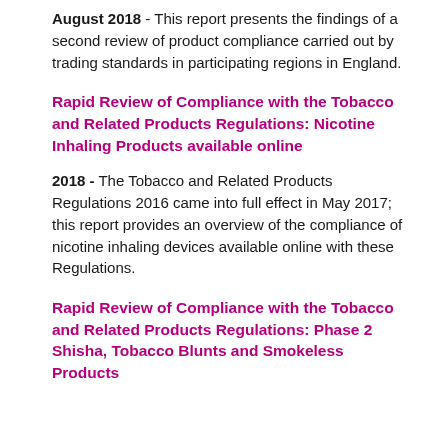August 2018 - This report presents the findings of a second review of product compliance carried out by trading standards in participating regions in England.
Rapid Review of Compliance with the Tobacco and Related Products Regulations: Nicotine Inhaling Products available online
2018 - The Tobacco and Related Products Regulations 2016 came into full effect in May 2017; this report provides an overview of the compliance of nicotine inhaling devices available online with these Regulations.
Rapid Review of Compliance with the Tobacco and Related Products Regulations: Phase 2 Shisha, Tobacco Blunts and Smokeless Products